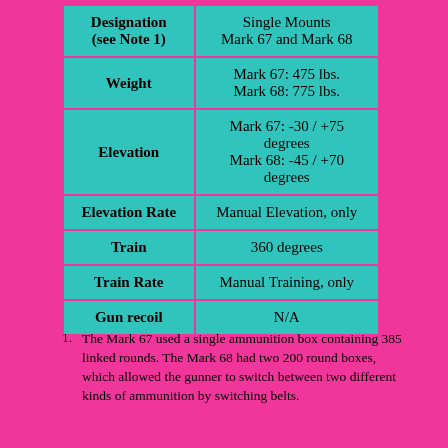| Designation (see Note 1) | Single Mounts Mark 67 and Mark 68 |
| --- | --- |
| Weight | Mark 67: 475 lbs.
Mark 68: 775 lbs. |
| Elevation | Mark 67: -30 / +75 degrees
Mark 68: -45 / +70 degrees |
| Elevation Rate | Manual Elevation, only |
| Train | 360 degrees |
| Train Rate | Manual Training, only |
| Gun recoil | N/A |
The Mark 67 used a single ammunition box containing 385 linked rounds. The Mark 68 had two 200 round boxes, which allowed the gunner to switch between two different kinds of ammunition by switching belts.